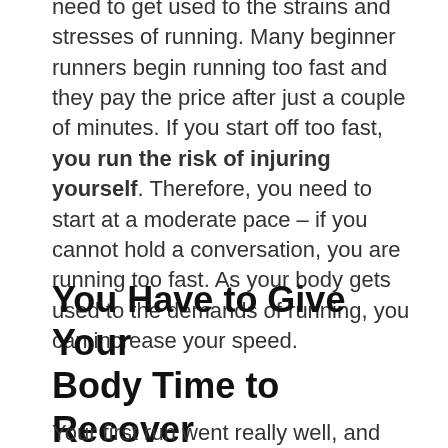need to get used to the strains and stresses of running. Many beginner runners begin running too fast and they pay the price after just a couple of minutes. If you start off too fast, you run the risk of injuring yourself. Therefore, you need to start at a moderate pace – if you cannot hold a conversation, you are running too fast. As your body gets used to the demands of running, you can increase your speed.
You Have to Give Your Body Time to Recover
Your first run went really well, and you want